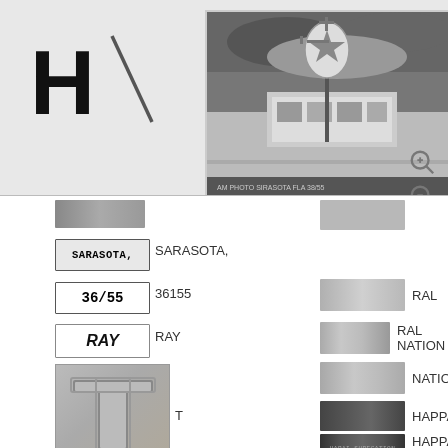[Figure (logo): Bold letter H with diagonal slash line]
[Figure (photo): Grayscale photo of a gas station with a Texaco star sign pole at night or dusk with clouds]
[Figure (other): OCR chip image (blurred, unreadable)]
[Figure (other): Gray blurred rectangle chip]
SARASOTA,
[Figure (other): OCR chip reading SARASOTA,]
[Figure (other): Blurred gray chip]
RAL
36155
[Figure (other): OCR chip reading 36155]
[Figure (other): Blurred gray chip labeled RAL NATION]
RAL NATION
RAY
[Figure (other): OCR chip reading RAY (handwritten style)]
[Figure (other): Blurred chip labeled NATION]
NATION
[Figure (other): Large grayscale image of letter T emblem]
T
[Figure (other): Dark chip labeled HAPPAN]
HAPPAN
[Figure (other): Very dark chip with text, labeled HAPPAN SURECATION]
HAPPAN SURECATION
[Figure (other): Bottom OCR strip chip]
RAY